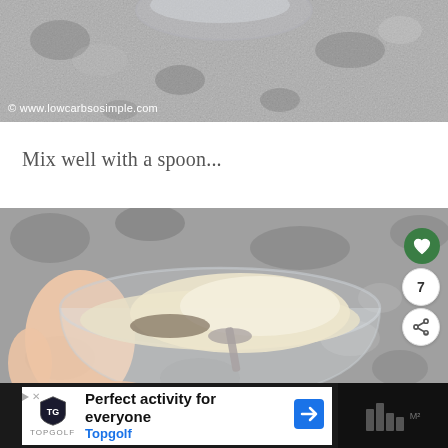[Figure (photo): Top portion of a photo showing a granite/stone countertop surface with the bottom edge of a glass bowl, with watermark '© www.lowcarbsosimple.com']
Mix well with a spoon...
[Figure (photo): Photo of a hand holding a glass bowl filled with almond flour and other dry ingredients being mixed with a spoon, on a granite countertop background. A green heart button, count '7', and share button are visible on the right side.]
[Figure (screenshot): Advertisement banner at the bottom: 'Perfect activity for everyone' with Topgolf logo and branding on dark background]